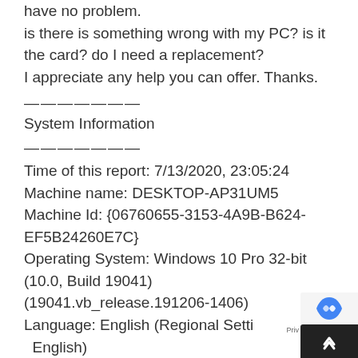have no problem.
is there is something wrong with my PC? is it the card? do I need a replacement?
I appreciate any help you can offer. Thanks.
———————
System Information
———————
Time of this report: 7/13/2020, 23:05:24
Machine name: DESKTOP-AP31UM5
Machine Id: {06760655-3153-4A9B-B624-EF5B24260E7C}
Operating System: Windows 10 Pro 32-bit (10.0, Build 19041) (19041.vb_release.191206-1406)
Language: English (Regional Settings: English)
System Manufacturer: Gateway